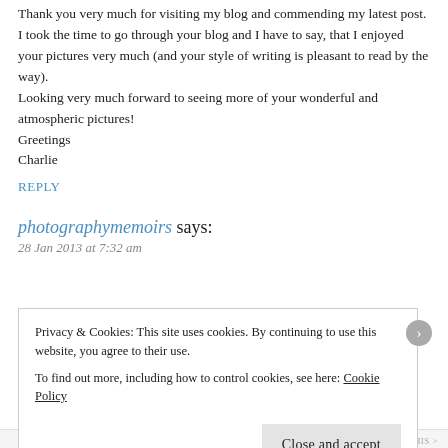Thank you very much for visiting my blog and commending my latest post. I took the time to go through your blog and I have to say, that I enjoyed your pictures very much (and your style of writing is pleasant to read by the way). Looking very much forward to seeing more of your wonderful and atmospheric pictures!
Greetings
Charlie
REPLY
photographymemoirs says:
28 Jan 2013 at 7:32 am
Privacy & Cookies: This site uses cookies. By continuing to use this website, you agree to their use.
To find out more, including how to control cookies, see here: Cookie Policy
Close and accept